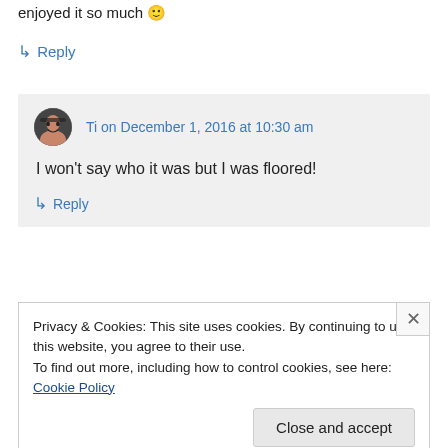enjoyed it so much 🙂
↳ Reply
Ti on December 1, 2016 at 10:30 am
I won't say who it was but I was floored!
↳ Reply
Privacy & Cookies: This site uses cookies. By continuing to use this website, you agree to their use.
To find out more, including how to control cookies, see here: Cookie Policy
Close and accept